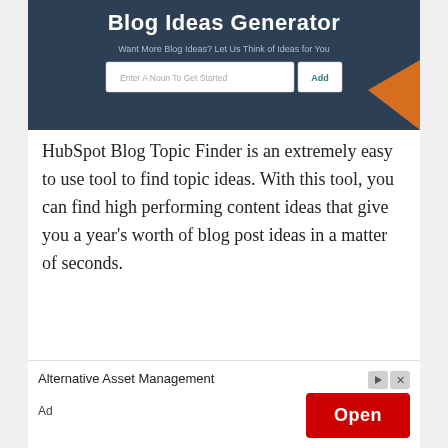[Figure (screenshot): Screenshot of HubSpot Blog Ideas Generator tool showing a dark navy background with title 'Blog Ideas Generator', subtitle 'Want More Blog Ideas? Let Us Think of Ideas for You', an input field 'Enter A Noun To Get Started' and an 'Add' button. An orange accent shape is visible at bottom right.]
HubSpot Blog Topic Finder is an extremely easy to use tool to find topic ideas. With this tool, you can find high performing content ideas that give you a year's worth of blog post ideas in a matter of seconds.
[Figure (screenshot): Advertisement banner showing 'Alternative Asset Management' text on the left, an 'Open' button in red on the right, with small play and close icons above the button, and 'Ad' label at bottom left.]